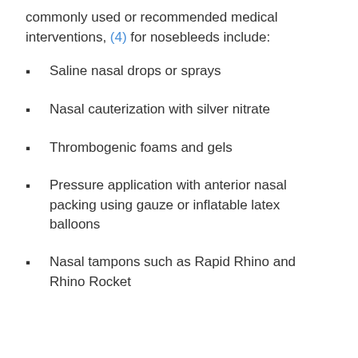commonly used or recommended medical interventions, (4) for nosebleeds include:
Saline nasal drops or sprays
Nasal cauterization with silver nitrate
Thrombogenic foams and gels
Pressure application with anterior nasal packing using gauze or inflatable latex balloons
Nasal tampons such as Rapid Rhino and Rhino Rocket